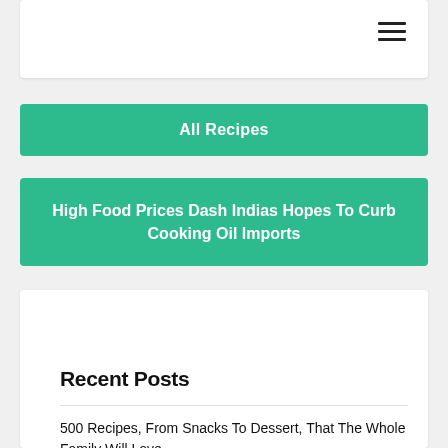Navigation bar with hamburger menu icon
All Recipes
High Food Prices Dash Indias Hopes To Curb Cooking Oil Imports
Recent Posts
500 Recipes, From Snacks To Dessert, That The Whole Family Will Love